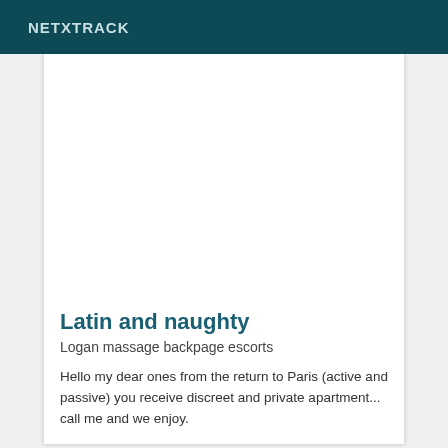NETXTRACK
Latin and naughty
Logan massage backpage escorts
Hello my dear ones from the return to Paris (active and passive) you receive discreet and private apartment... call me and we enjoy.